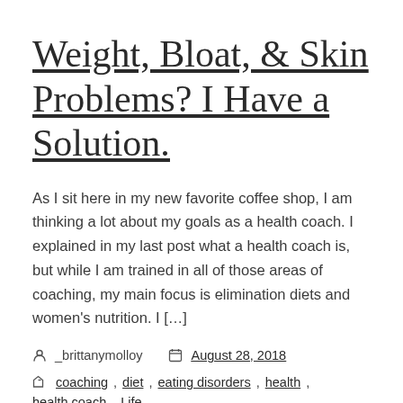Weight, Bloat, & Skin Problems? I Have a Solution.
As I sit here in my new favorite coffee shop, I am thinking a lot about my goals as a health coach. I explained in my last post what a health coach is, but while I am trained in all of those areas of coaching, my main focus is elimination diets and women's nutrition. I […]
_brittanymolloy   August 28, 2018
coaching, diet, eating disorders, health, health coach, Life, Self Help, Self Love, weight loss, Woman's Health